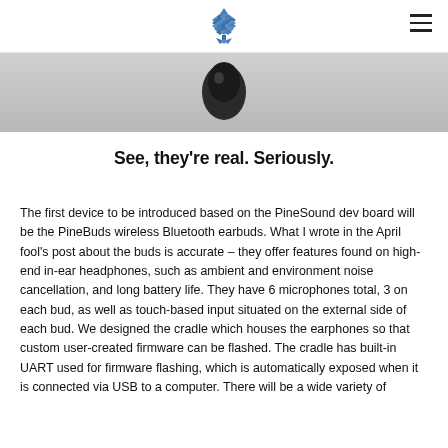PINE64 logo and navigation
[Figure (photo): Close-up photo of a dark wireless earbud against a light gray background, showing only the bottom portion of the earbud]
See, they're real. Seriously.
The first device to be introduced based on the PineSound dev board will be the PineBuds wireless Bluetooth earbuds. What I wrote in the April fool's post about the buds is accurate – they offer features found on high-end in-ear headphones, such as ambient and environment noise cancellation, and long battery life. They have 6 microphones total, 3 on each bud, as well as touch-based input situated on the external side of each bud. We designed the cradle which houses the earphones so that custom user-created firmware can be flashed. The cradle has built-in UART used for firmware flashing, which is automatically exposed when it is connected via USB to a computer. There will be a wide variety of